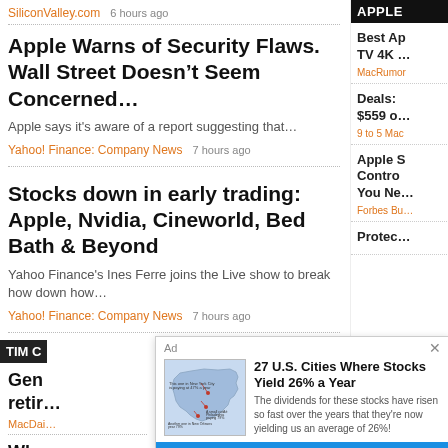SiliconValley.com   6 hours ago
Apple Warns of Security Flaws. Wall Street Doesn't Seem Concerned…
Apple says it's aware of a report suggesting that…
Yahoo! Finance: Company News   7 hours ago
Stocks down in early trading: Apple, Nvidia, Cineworld, Bed Bath & Beyond
Yahoo Finance's Ines Ferre joins the Live show to break how down how…
Yahoo! Finance: Company News   7 hours ago
APPLE
Best Ap TV 4K …
MacRumor
Deals: $559 o…
9 to 5 Mac
Apple S Contro You Ne…
Forbes Bu…
Protec…
More »
TIM C
Gen retir…
MacDai…
Why Here…
Tech Ti…
Ad
[Figure (map): US map showing cities with stock yields, with annotations pointing to New York City (paying 47% a year), Philadelphia (paying 79%), and New Orleans (79%)]
27 U.S. Cities Where Stocks Yield 26% a Year
The dividends for these stocks have risen so fast over the years that they're now yielding us an average of 26%!
FULL STORY HERE